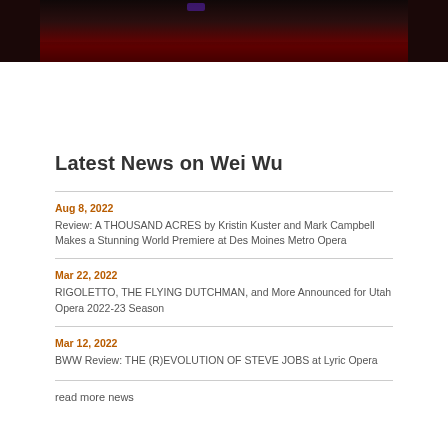[Figure (photo): Dark theater/concert hall audience photo strip at top of page]
Latest News on Wei Wu
Aug 8, 2022
Review: A THOUSAND ACRES by Kristin Kuster and Mark Campbell Makes a Stunning World Premiere at Des Moines Metro Opera
Mar 22, 2022
RIGOLETTO, THE FLYING DUTCHMAN, and More Announced for Utah Opera 2022-23 Season
Mar 12, 2022
BWW Review: THE (R)EVOLUTION OF STEVE JOBS at Lyric Opera
read more news